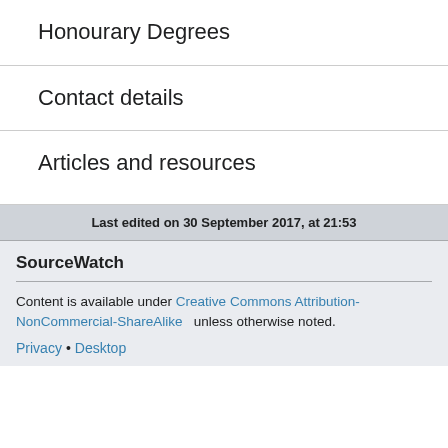Honourary Degrees
Contact details
Articles and resources
Last edited on 30 September 2017, at 21:53
SourceWatch
Content is available under Creative Commons Attribution-NonCommercial-ShareAlike unless otherwise noted.
Privacy • Desktop